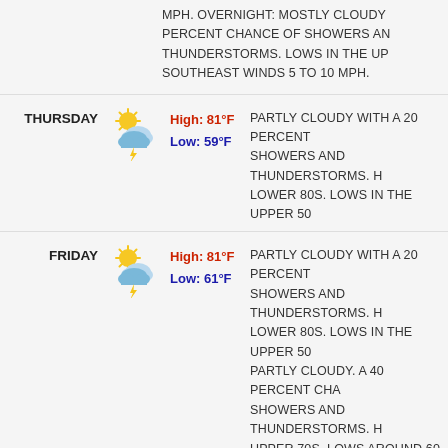MPH. OVERNIGHT: MOSTLY CLOUDY PERCENT CHANCE OF SHOWERS AN THUNDERSTORMS. LOWS IN THE UP SOUTHEAST WINDS 5 TO 10 MPH.
THURSDAY High: 81°F Low: 59°F PARTLY CLOUDY WITH A 20 PERCENT SHOWERS AND THUNDERSTORMS. H LOWER 80S. LOWS IN THE UPPER 50
FRIDAY High: 81°F Low: 61°F PARTLY CLOUDY WITH A 20 PERCENT SHOWERS AND THUNDERSTORMS. H LOWER 80S. LOWS IN THE UPPER 50 PARTLY CLOUDY. A 40 PERCENT CHA SHOWERS AND THUNDERSTORMS. H UPPER 70S. LOWS AROUND 60.
SATURDAY High: 79°F Low: 60°F PARTLY CLOUDY. A 40 PERCENT CHA SHOWERS AND THUNDERSTORMS. H UPPER 70S. LOWS AROUND 60. OVE CLOUDY. A 20 PERCENT CHANCE OF THUNDERSTORMS. HIGHS IN THE UP IN THE UPPER 50S.